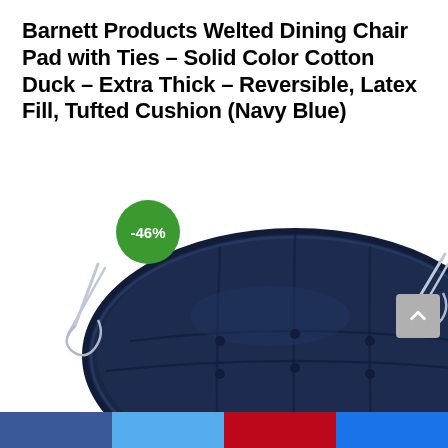Barnett Products Welted Dining Chair Pad with Ties – Solid Color Cotton Duck – Extra Thick – Reversible, Latex Fill, Tufted Cushion (Navy Blue)
[Figure (photo): Navy blue tufted dining chair cushion pad with ties, shown from above. A green circular badge showing -46% discount is overlaid on the upper left of the cushion.]